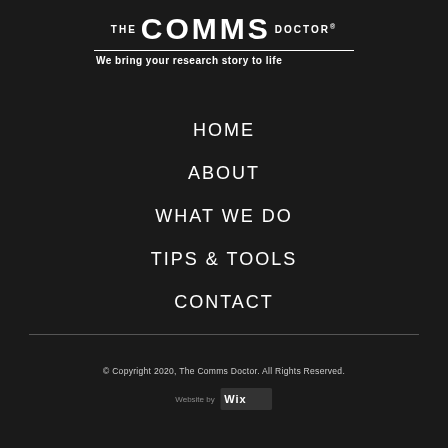[Figure (logo): The Comms Doctor logo with tagline 'We bring your research story to life']
HOME
ABOUT
WHAT WE DO
TIPS & TOOLS
CONTACT
© Copyright 2020, The Comms Doctor. All Rights Reserved.
Website by [Wix logo]